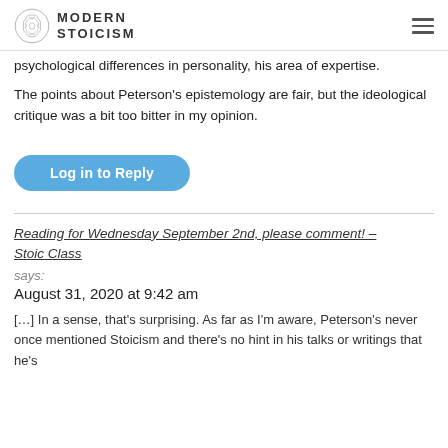MODERN STOICISM
psychological differences in personality, his area of expertise.
The points about Peterson's epistemology are fair, but the ideological critique was a bit too bitter in my opinion.
Log in to Reply
Reading for Wednesday September 2nd, please comment! – Stoic Class
says:
August 31, 2020 at 9:42 am
[…] In a sense, that's surprising. As far as I'm aware, Peterson's never once mentioned Stoicism and there's no hint in his talks or writings that he's